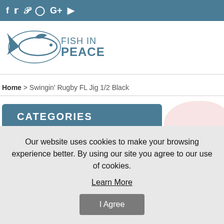f  tw  p  ig  G+  yt (social media icons bar)
[Figure (logo): Fish in Peace logo with stylized fish illustration and text FISH IN PEACE]
Home > Swingin' Rugby FL Jig 1/2 Black
CATEGORIES
Baits, Lures & Flies
Our website uses cookies to make your browsing experience better. By using our site you agree to our use of cookies.
Learn More
I Agree